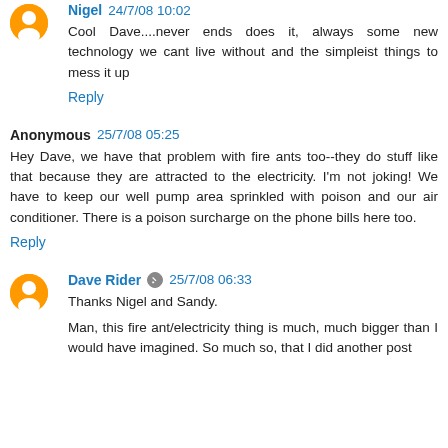Nigel 24/7/08 10:02
Cool Dave....never ends does it, always some new technology we cant live without and the simpleist things to mess it up
Reply
Anonymous 25/7/08 05:25
Hey Dave, we have that problem with fire ants too--they do stuff like that because they are attracted to the electricity. I'm not joking! We have to keep our well pump area sprinkled with poison and our air conditioner. There is a poison surcharge on the phone bills here too.
Reply
Dave Rider 25/7/08 06:33
Thanks Nigel and Sandy.

Man, this fire ant/electricity thing is much, much bigger than I would have imagined. So much so, that I did another post